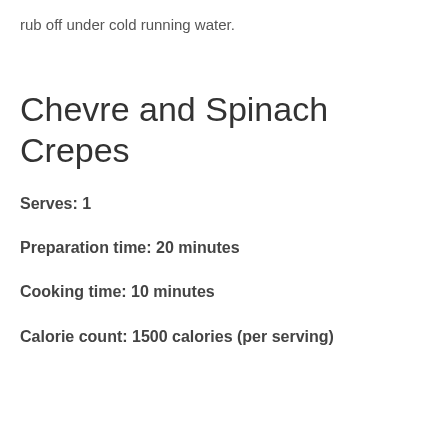rub off under cold running water.
Chevre and Spinach Crepes
Serves: 1
Preparation time: 20 minutes
Cooking time: 10 minutes
Calorie count: 1500 calories (per serving)